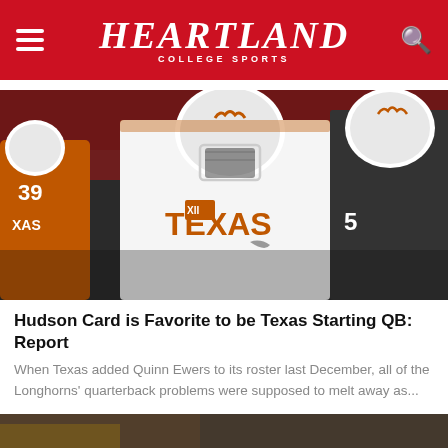Heartland College Sports
[Figure (photo): Texas Longhorns football player wearing white Texas jersey with Big 12 logo, white helmet with longhorn logo, in game action. Number 39 visible in background.]
Hudson Card is Favorite to be Texas Starting QB: Report
When Texas added Quinn Ewers to its roster last December, all of the Longhorns' quarterback problems were supposed to melt away as...
[Figure (photo): Partial image of another article at bottom of page, cut off.]